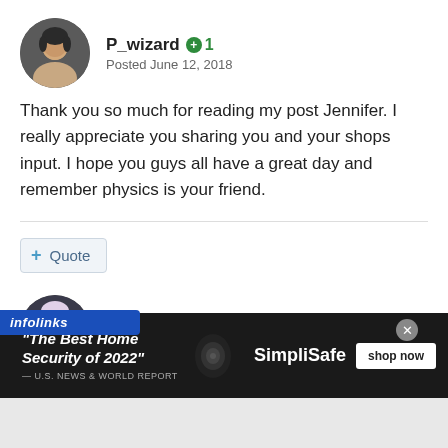P_wizard +1 Posted June 12, 2018
Thank you so much for reading my post Jennifer. I really appreciate you sharing you and your shops input. I hope you guys all have a great day and remember physics is your friend.
+ Quote
J.Stell +59 Posted June 12, 2018
[Figure (screenshot): Infolinks ad bar overlay with SimpliSafe home security advertisement: 'The Best Home Security of 2022' — U.S. News & World Report, with shop now button]